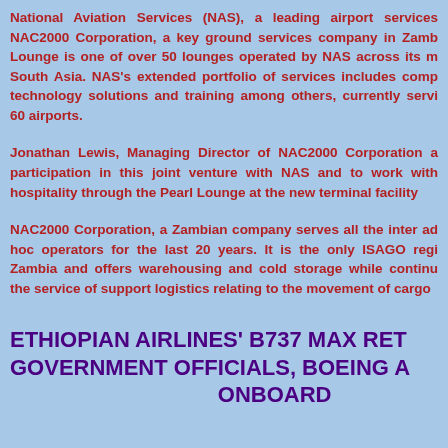National Aviation Services (NAS), a leading airport services NAC2000 Corporation, a key ground services company in Zamb Lounge is one of over 50 lounges operated by NAS across its m South Asia. NAS's extended portfolio of services includes comp technology solutions and training among others, currently servi 60 airports.
Jonathan Lewis, Managing Director of NAC2000 Corporation a participation in this joint venture with NAS and to work with hospitality through the Pearl Lounge at the new terminal facility
NAC2000 Corporation, a Zambian company serves all the inter ad hoc operators for the last 20 years. It is the only ISAGO regi Zambia and offers warehousing and cold storage while continu the service of support logistics relating to the movement of cargo
ETHIOPIAN AIRLINES' B737 MAX RET GOVERNMENT OFFICIALS, BOEING A ONBOARD